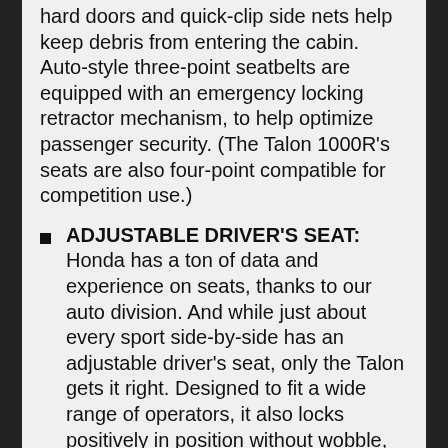hard doors and quick-clip side nets help keep debris from entering the cabin. Auto-style three-point seatbelts are equipped with an emergency locking retractor mechanism, to help optimize passenger security. (The Talon 1000R's seats are also four-point compatible for competition use.)
ADJUSTABLE DRIVER'S SEAT: Honda has a ton of data and experience on seats, thanks to our auto division. And while just about every sport side-by-side has an adjustable driver's seat, only the Talon gets it right. Designed to fit a wide range of operators, it also locks positively in position without wobble, helping make you feel more connected to the vehicle.
PAINTED BODY: Why paint and not...